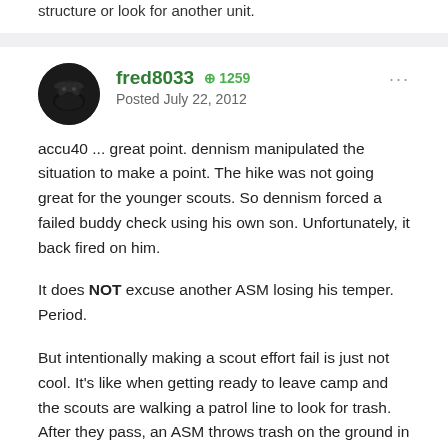structure or look for another unit.
fred8033  +1259
Posted July 22, 2012
accu40 ... great point. dennism manipulated the situation to make a point. The hike was not going great for the younger scouts. So dennism forced a failed buddy check using his own son. Unfortunately, it back fired on him.
It does NOT excuse another ASM losing his temper. Period.
But intentionally making a scout effort fail is just not cool. It's like when getting ready to leave camp and the scouts are walking a patrol line to look for trash. After they pass, an ASM throws trash on the ground in a few places. If not caught, maybe it's a learning situation. If caught, some of those scouts are going to be pretty disappointed. After all, they are going to be held...